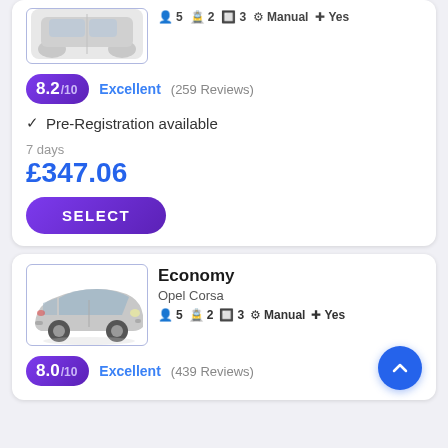[Figure (photo): Silver car (top, partial, cut off at top of card)]
5  2  3  Manual  Yes (icons for persons, bags, doors, transmission, AC)
8.2/10  Excellent (259 Reviews)
✓ Pre-Registration available
7 days
£347.06
SELECT
Economy
Opel Corsa
5  2  3  Manual  Yes
[Figure (photo): Silver Opel Corsa hatchback car image]
8.0/10  Excellent (439 Reviews)